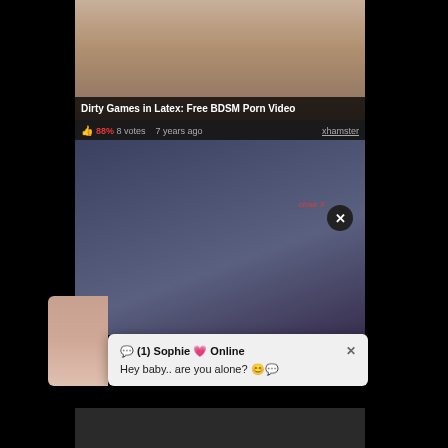[Figure (screenshot): Video thumbnail showing two figures standing in a room]
Dirty Games in Latex: Free BDSM Porn Video
88% 8 votes  7 years ago  xhamster
[Figure (screenshot): Video thumbnail showing bondage equipment with close X button overlay]
💬 (1) Sophie 💗 Online
Hey baby.. are you alone? 😊💬